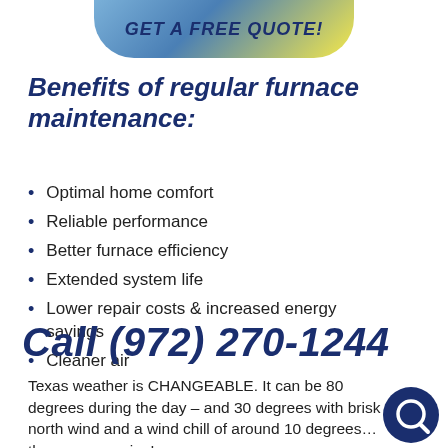[Figure (illustration): Rounded pill-shaped banner button with blue-to-yellow gradient containing bold italic text 'GET A FREE QUOTE!']
Benefits of regular furnace maintenance:
Optimal home comfort
Reliable performance
Better furnace efficiency
Extended system life
Lower repair costs & increased energy savings
Cleaner air
Call (972) 270-1244
Texas weather is CHANGEABLE. It can be 80 degrees during the day – and 30 degrees with brisk north wind and a wind chill of around 10 degrees… the same evening!
[Figure (logo): Dark navy circle with white chat/search bubble icon (Q icon) in bottom right corner]